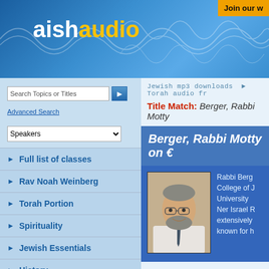Join our w
[Figure (logo): AishAudio logo with wave pattern background on blue gradient header]
Search Topics or Titles
Advanced Search
Speakers
Full list of classes
Rav Noah Weinberg
Torah Portion
Spirituality
Jewish Essentials
History
Jewish Issues
Holidays
Jewish mp3 downloads  Torah audio fr
Title Match: Berger, Rabbi Motty
Berger, Rabbi Motty on
[Figure (photo): Headshot of Rabbi Motty Berger, a bearded man in a suit with tie, smiling]
Rabbi Berg  College of J  University  Ner Israel R  extensively known for h
has found 48 results
This page displays results 39 to 48 of 48.